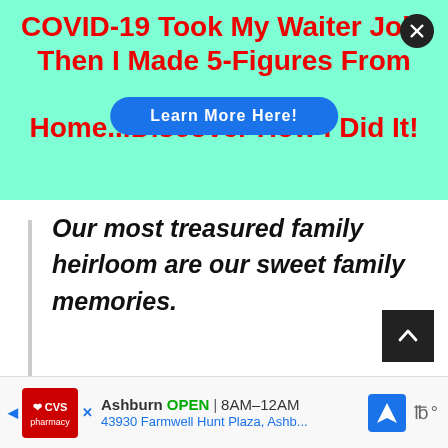[Figure (screenshot): Top ad banner with teal/mint background showing COVID-19 job loss to work-from-home income ad with 'Learn More Here!' button]
COVID-19 Took My Waiter Job, Then I Made 5-Figures From Home...Discover How I Did It!
Learn More Here!
Our most treasured family heirloom are our sweet family memories.
[Figure (screenshot): CVS Pharmacy ad: Ashburn OPEN 8AM-12AM, 43930 Farmwell Hunt Plaza, Ashb...]